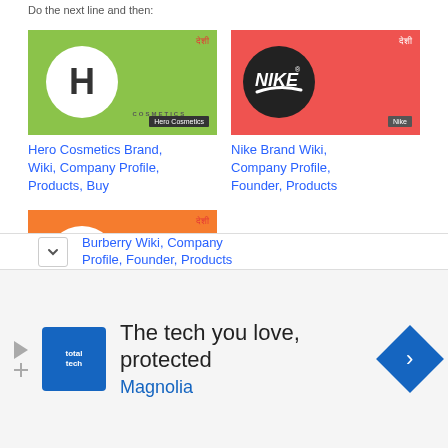Do the next line and then:
[Figure (logo): Hero Cosmetics brand logo card with green background, white circle with H, label 'Hero Cosmetics']
Hero Cosmetics Brand, Wiki, Company Profile, Products, Buy
[Figure (logo): Nike brand logo card with red/coral background, black circle with Nike text and swoosh, label 'Nike']
Nike Brand Wiki, Company Profile, Founder, Products
[Figure (logo): Burberry brand logo card with orange background, white circle with BURBERRY text, label 'Burberry']
Burberry Wiki, Company Profile, Founder, Products
The tech you love, protected
Magnolia